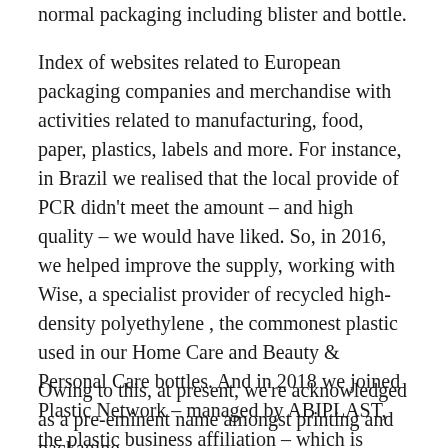normal packaging including blister and bottle.
Index of websites related to European packaging companies and merchandise with activities related to manufacturing, food, paper, plastics, labels and more. For instance, in Brazil we realised that the local provide of PCR didn’t meet the amount – and high quality – we would have liked. So, in 2016, we helped improve the supply, working with Wise, a specialist provider of recycled high-density polyethylene , the commonest plastic used in our Home Care and Beauty & Personal Care bottles. And in 2018 we joined Plastic Network – managed by ABIPLAST, the plastic business affiliation – which is focused on growing recycling charges.
Owing to this, at present, we’re acknowledged as a pre-eminent name amongst printing and packaging